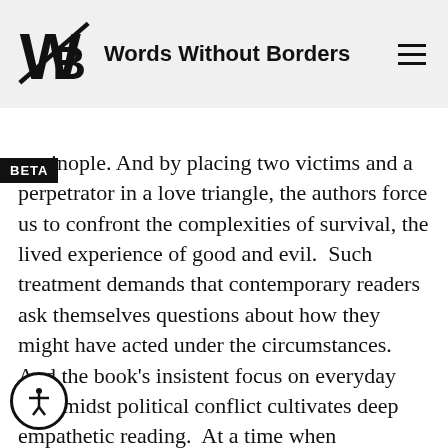Words Without Borders
tantinople. And by placing two victims and a perpetrator in a love triangle, the authors force us to confront the complexities of survival, the lived experience of good and evil. Such treatment demands that contemporary readers ask themselves questions about how they might have acted under the circumstances. And the book's insistent focus on everyday life amidst political conflict cultivates deep empathetic reading. At a time when reconciliation appears doomed by politics and uninspired diplomacy, A Summer Without Dawn is a powerful—and essential—challenge to the world's continuing apathy.